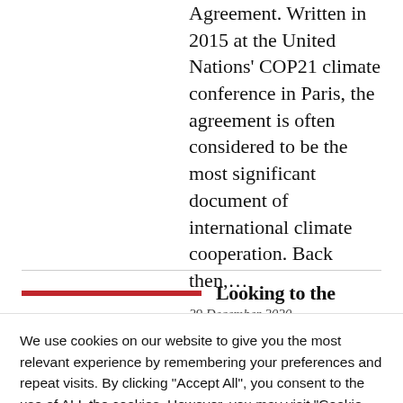Agreement. Written in 2015 at the United Nations' COP21 climate conference in Paris, the agreement is often considered to be the most significant document of international climate cooperation. Back then,…
29 December 2020
Looking to the
We use cookies on our website to give you the most relevant experience by remembering your preferences and repeat visits. By clicking "Accept All", you consent to the use of ALL the cookies. However, you may visit "Cookie Settings" to provide a controlled consent.